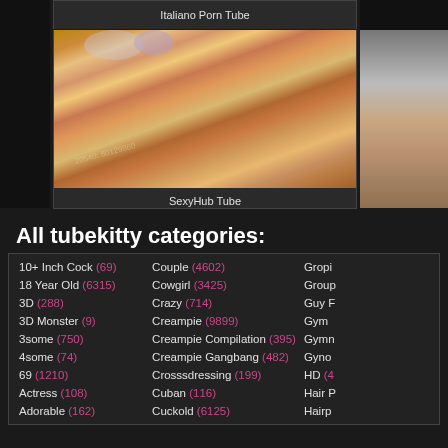Italiano Porn Tube
[Figure (photo): Thumbnail image center - SexyHub Tube]
SexyHub Tube
[Figure (photo): Partial right thumbnail]
All tubekitty categories:
10+ Inch Cock (69)
18 Year Old (6315)
3D (288)
3D Monster (9)
3some (750)
4some (74)
69 (1210)
Actress (108)
Adorable (162)
Couple (4602)
Cowgirl (3425)
Crazy (714)
Creampie (9899)
Creampie Compilation (395)
Creampie Gangbang (482)
Crosssdressing (199)
Cuban (116)
Cuckold (6125)
Gropi...
Group...
Guy F...
Gym ...
Gymn...
Gyno ...
HD (4...
Hair P...
Hairp...